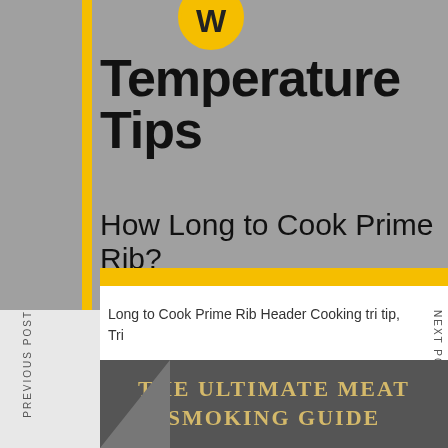Temperature Tips
How Long to Cook Prime Rib?
Long to Cook Prime Rib Header Cooking tri tip, Tri
what temp should i bbq a tri tip?
THE ULTIMATE MEAT SMOKING GUIDE